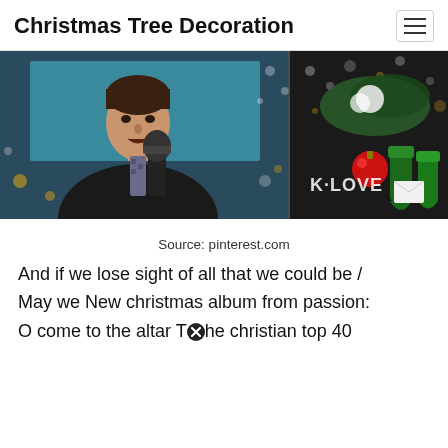Christmas Tree Decoration
[Figure (photo): A man singing into a microphone in a dark jacket and patterned tie, with a K-LOVE watermark and Christmas decorations including red ornament and green stockings visible on the right side.]
Source: pinterest.com
And if we lose sight of all that we could be /
May we New christmas album from passion:
O come to the altar The christian top 40